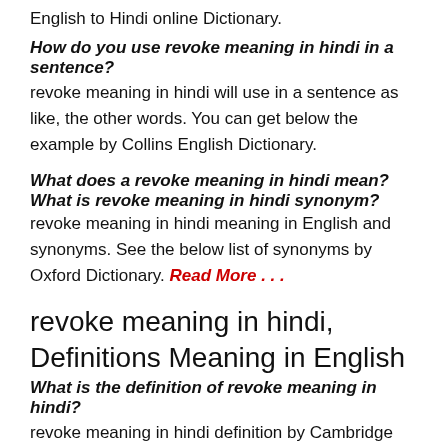English to Hindi online Dictionary.
How do you use revoke meaning in hindi in a sentence?
revoke meaning in hindi will use in a sentence as like, the other words. You can get below the example by Collins English Dictionary.
What does a revoke meaning in hindi mean? What is revoke meaning in hindi synonym?
revoke meaning in hindi meaning in English and synonyms. See the below list of synonyms by Oxford Dictionary. Read More . . .
revoke meaning in hindi, Definitions Meaning in English
What is the definition of revoke meaning in hindi?
revoke meaning in hindi definition by Cambridge English Dictionary.